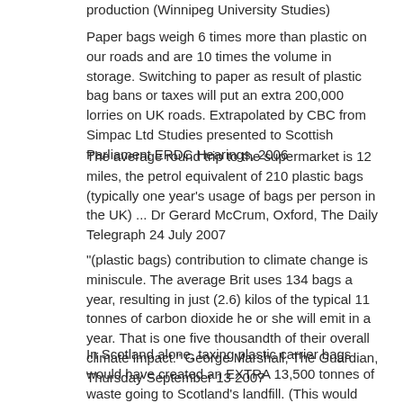production (Winnipeg University Studies)
Paper bags weigh 6 times more than plastic on our roads and are 10 times the volume in storage. Switching to paper as result of plastic bag bans or taxes will put an extra 200,000 lorries on UK roads. Extrapolated by CBC from Simpac Ltd Studies presented to Scottish Parliament ERDC Hearings, 2006
The average round trip to the supermarket is 12 miles, the petrol equivalent of 210 plastic bags (typically one year's usage of bags per person in the UK) ... Dr Gerard McCrum, Oxford, The Daily Telegraph 24 July 2007
“(plastic bags) contribution to climate change is miniscule. The average Brit uses 134 bags a year, resulting in just (2.6) kilos of the typical 11 tonnes of carbon dioxide he or she will emit in a year. That is one five thousandth of their overall climate impact.” George Marshall, The Guardian, Thursday September 13 2007
In Scotland alone, taxing plastic carrier bags would have created an EXTRA 13,500 tonnes of waste going to Scotland’s landfill. (This would mean an EXTRA 150,000 tonnes of waste